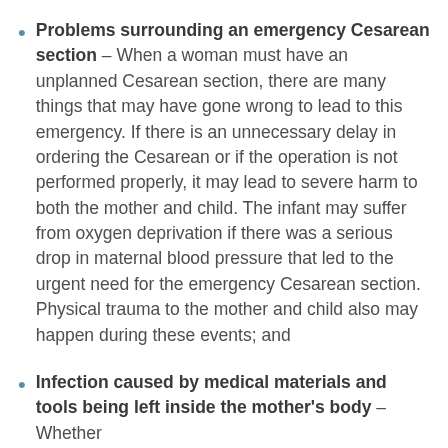Problems surrounding an emergency Cesarean section – When a woman must have an unplanned Cesarean section, there are many things that may have gone wrong to lead to this emergency. If there is an unnecessary delay in ordering the Cesarean or if the operation is not performed properly, it may lead to severe harm to both the mother and child. The infant may suffer from oxygen deprivation if there was a serious drop in maternal blood pressure that led to the urgent need for the emergency Cesarean section. Physical trauma to the mother and child also may happen during these events; and
Infection caused by medical materials and tools being left inside the mother's body – Whether